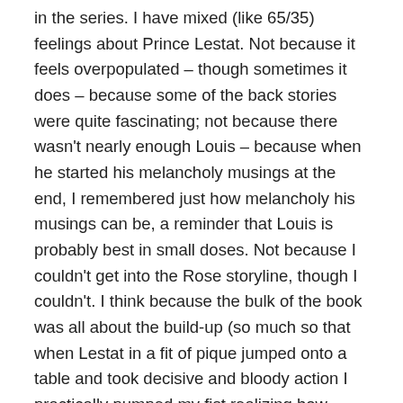in the series. I have mixed (like 65/35) feelings about Prince Lestat. Not because it feels overpopulated – though sometimes it does – because some of the back stories were quite fascinating; not because there wasn't nearly enough Louis – because when he started his melancholy musings at the end, I remembered just how melancholy his musings can be, a reminder that Louis is probably best in small doses. Not because I couldn't get into the Rose storyline, though I couldn't. I think because the bulk of the book was all about the build-up (so much so that when Lestat in a fit of pique jumped onto a table and took decisive and bloody action I practically pumped my fist realizing how much inaction there'd been to that point) but then the climax was somewhat anti-climatic – the Brat Prince is now an actual Prince, Prince of the immortals if you will. Meh okay. Someone who's minded his own